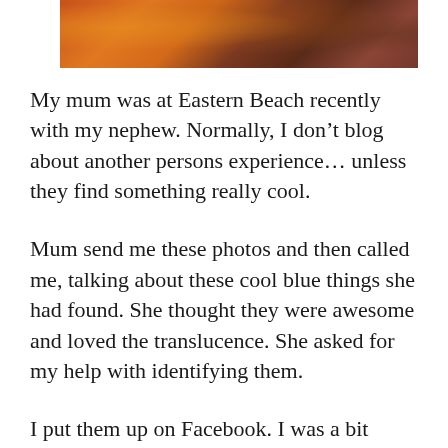[Figure (photo): Partial photo of a textured rock or natural object with orange, brown, and dark reddish-purple coloring, cropped at the top of the page.]
My mum was at Eastern Beach recently with my nephew. Normally, I don't blog about another persons experience... unless they find something really cool.
Mum send me these photos and then called me, talking about these cool blue things she had found. She thought they were awesome and loved the translucence. She asked for my help with identifying them.
I put them up on Facebook. I was a bit hesitant